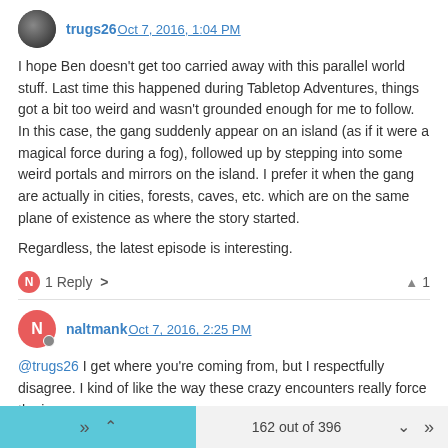trugs26 Oct 7, 2016, 1:04 PM
I hope Ben doesn't get too carried away with this parallel world stuff. Last time this happened during Tabletop Adventures, things got a bit too weird and wasn't grounded enough for me to follow. In this case, the gang suddenly appear on an island (as if it were a magical force during a fog), followed up by stepping into some weird portals and mirrors on the island. I prefer it when the gang are actually in cities, forests, caves, etc. which are on the same plane of existence as where the story started.
Regardless, the latest episode is interesting.
1 Reply >   ▲ 1
naltmank Oct 7, 2016, 2:25 PM
@trugs26 I get where you're coming from, but I respectfully disagree. I kind of like the way these crazy encounters really force the improv
162 out of 396